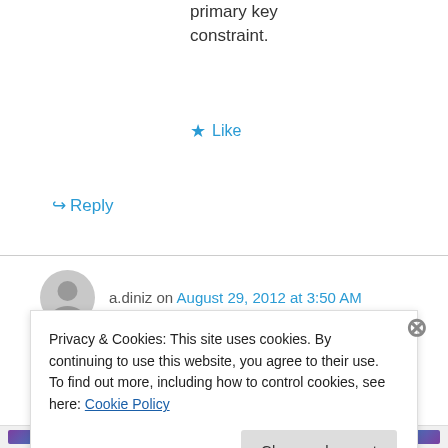primary key constraint.
★ Like
↪ Reply
a.diniz on August 29, 2012 at 3:50 AM
Another spin on the interview question:
A database contains an empty table called SomeClusteredData and defines the field,
Privacy & Cookies: This site uses cookies. By continuing to use this website, you agree to their use.
To find out more, including how to control cookies, see here: Cookie Policy
Close and accept